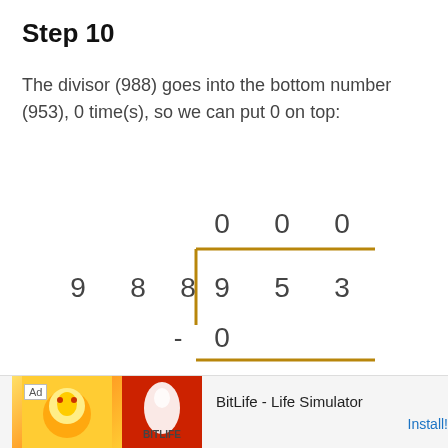Step 10
The divisor (988) goes into the bottom number (953), 0 time(s), so we can put 0 on top:
[Figure (math-figure): Long division diagram showing 988 dividing 953. Quotient digits 0 0 0 shown on top. Dividend 9 5 3 inside division bracket. Divisor 9 8 8 to the left. Subtraction of 0 shown below with remainder 9 5.]
[Figure (other): Advertisement bar for BitLife - Life Simulator app with Install button.]